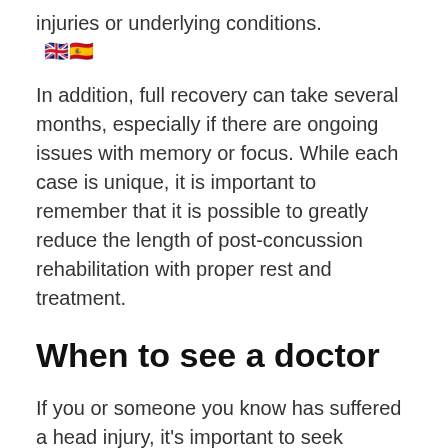injuries or underlying conditions.
[Figure (illustration): UK flag and Spanish flag emoji icons]
In addition, full recovery can take several months, especially if there are ongoing issues with memory or focus. While each case is unique, it is important to remember that it is possible to greatly reduce the length of post-concussion rehabilitation with proper rest and treatment.
When to see a doctor
If you or someone you know has suffered a head injury, it’s important to seek medical attention. Even if the person does not seem to be injured, concussions can still occur.